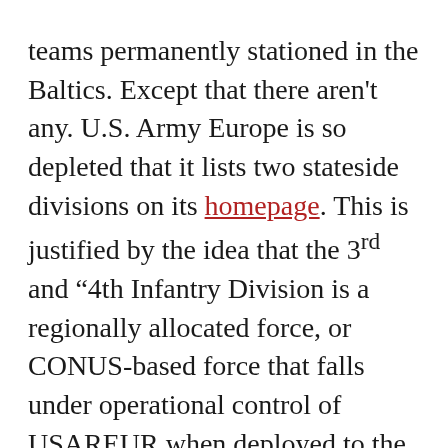teams permanently stationed in the Baltics. Except that there aren't any. U.S. Army Europe is so depleted that it lists two stateside divisions on its homepage. This is justified by the idea that the 3rd and "4th Infantry Division is a regionally allocated force, or CONUS-based force that falls under operational control of USAREUR when deployed to the European theater." Unfortunately, the 3rd ID (Georgia) and the 4th ID (Colorado) aren't likely to arrive in time to save the day. The ground combat power in Europe is limited to the 2nd Cavalry Regiment